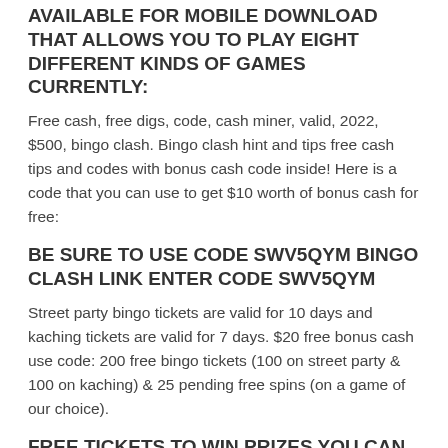AVAILABLE FOR MOBILE DOWNLOAD THAT ALLOWS YOU TO PLAY EIGHT DIFFERENT KINDS OF GAMES CURRENTLY:
Free cash, free digs, code, cash miner, valid, 2022, $500, bingo clash. Bingo clash hint and tips free cash tips and codes with bonus cash code inside! Here is a code that you can use to get $10 worth of bonus cash for free:
BE SURE TO USE CODE SWV5QYM BINGO CLASH LINK ENTER CODE SWV5QYM
Street party bingo tickets are valid for 10 days and kaching tickets are valid for 7 days. $20 free bonus cash use code: 200 free bingo tickets (100 on street party & 100 on kaching) & 25 pending free spins (on a game of our choice).
FREE TICKETS TO WIN PRIZES YOU CAN NOW USE TICKETS TO ENTER BINGO CASH GAMES FOR FREE!
Most of these ticket games don't have cash prizes.